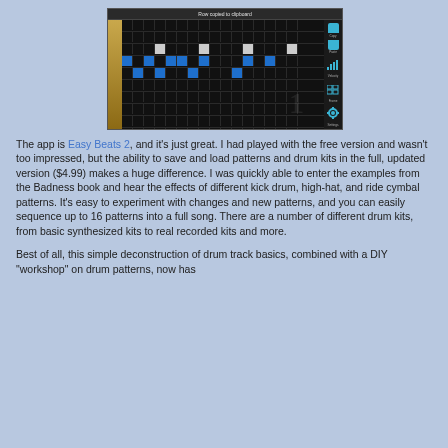[Figure (screenshot): Screenshot of Easy Beats 2 app showing a drum sequencer grid with blue activated cells and a 'Row copied to clipboard' message at the top. The interface shows a dark grid with blue beat markers, a golden/wooden left strip for instrument labels, and icons on the right side for Copy, Paste, Velocity, Frame, and Settings.]
The app is Easy Beats 2, and it's just great. I had played with the free version and wasn't too impressed, but the ability to save and load patterns and drum kits in the full, updated version ($4.99) makes a huge difference. I was quickly able to enter the examples from the Badness book and hear the effects of different kick drum, high-hat, and ride cymbal patterns. It's easy to experiment with changes and new patterns, and you can easily sequence up to 16 patterns into a full song. There are a number of different drum kits, from basic synthesized kits to real recorded kits and more.
Best of all, this simple deconstruction of drum track basics, combined with a DIY "workshop" on drum patterns, now has